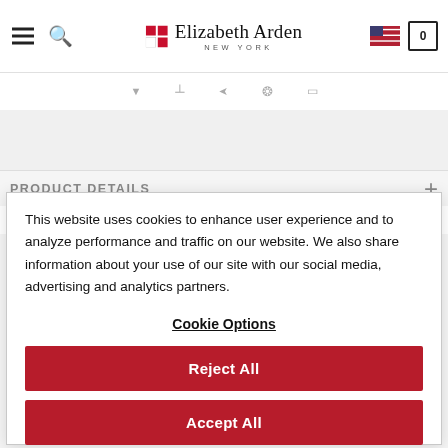[Figure (screenshot): Elizabeth Arden website header with hamburger menu, search icon, Elizabeth Arden New York logo, US flag icon, and cart icon showing 0]
[Figure (screenshot): Navigation social share icons row: triangle, text, share, pin, copy link icons in gray]
[Figure (screenshot): Gray content band below navigation]
PRODUCT DETAILS
This website uses cookies to enhance user experience and to analyze performance and traffic on our website. We also share information about your use of our site with our social media, advertising and analytics partners.
Cookie Options
Reject All
Accept All